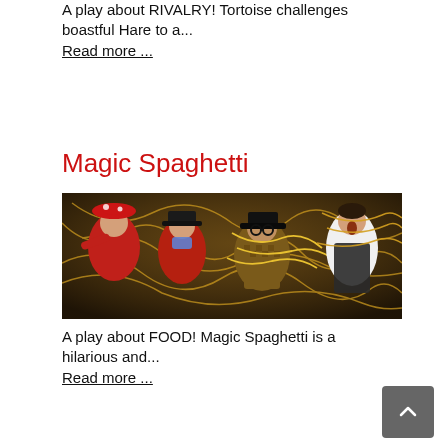A play about RIVALRY! Tortoise challenges boastful Hare to a...
Read more ...
Magic Spaghetti
[Figure (photo): Four theatrical performers with spaghetti, wearing costumes including red hat, black hats, and apron]
A play about FOOD! Magic Spaghetti is a hilarious and...
Read more ...